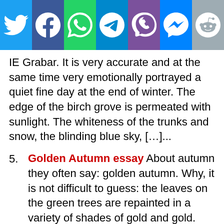[Figure (other): Social media sharing icons bar: Twitter (blue), Facebook (dark blue), WhatsApp (green), Telegram (light blue), Viber (purple), Messenger (blue), Reddit (gray)]
IE Grabar. It is very accurate and at the same time very emotionally portrayed a quiet fine day at the end of winter. The edge of the birch grove is permeated with sunlight. The whiteness of the trunks and snow, the blinding blue sky, […]...
5. Golden Autumn essay About autumn they often say: golden autumn. Why, it is not difficult to guess: the leaves on the green trees are repainted in a variety of shades of gold and gold. Yellow ocher, red copper, greenish brass, brown bronze, pale yellow and orange-yellow gold – these colors are primarily reminiscent of autumn. You will look […]...
6. The composition of Ostroukhov's painting "Golden Autumn" Ostroukhov Ilya Semenovich is a real master in writing landscapes. He painted a lot of pictures about nature, but his best work is